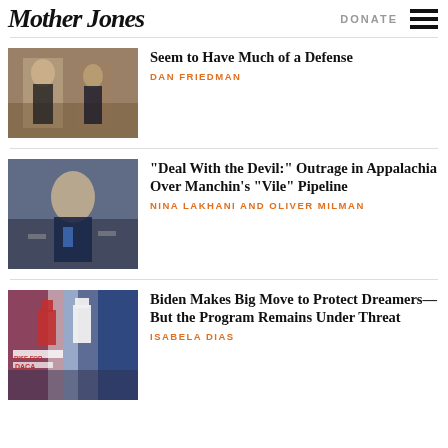Mother Jones | DONATE ☰
[Figure (photo): Photo of people in formal attire in what appears to be a grand room]
Seem to Have Much of a Defense
DAN FRIEDMAN
[Figure (photo): Photo of Senator Joe Manchin speaking to reporters with microphones]
“Deal With the Devil:” Outrage in Appalachia Over Manchin’s “Vile” Pipeline
NINA LAKHANI AND OLIVER MILMAN
[Figure (photo): Photo of protesters holding American flags and DACA signs]
Biden Makes Big Move to Protect Dreamers—But the Program Remains Under Threat
ISABELA DIAS